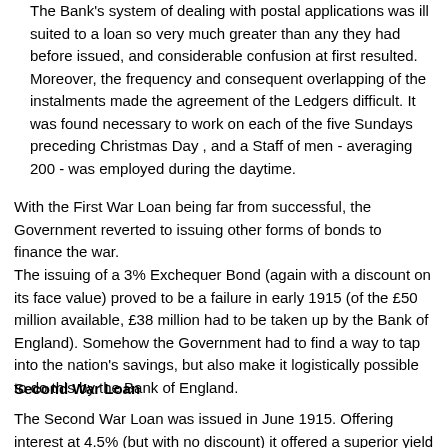The Bank's system of dealing with postal applications was ill suited to a loan so very much greater than any they had before issued, and considerable confusion at first resulted. Moreover, the frequency and consequent overlapping of the instalments made the agreement of the Ledgers difficult. It was found necessary to work on each of the five Sundays preceding Christmas Day , and a Staff of men - averaging 200 - was employed during the daytime.
With the First War Loan being far from successful, the Government reverted to issuing other forms of bonds to finance the war.
The issuing of a 3% Exchequer Bond (again with a discount on its face value) proved to be a failure in early 1915 (of the £50 million available, £38 million had to be taken up by the Bank of England).  Somehow the Government had to find a way to tap into the nation's savings, but also make it logistically possible to do this by the Bank of England.
Second War Loan
The Second War Loan was issued in June 1915. Offering interest at 4.5% (but with no discount) it offered a superior yield to the First